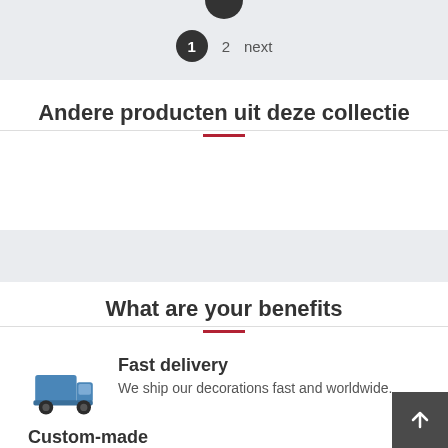[Figure (infographic): Pagination bar with dark circle showing '1', number '2', and text 'next'. Partial dark circle visible at top.]
Andere producten uit deze collectie
What are your benefits
[Figure (illustration): Blue delivery truck icon]
Fast delivery
We ship our decorations fast and worldwide.
Custom-made